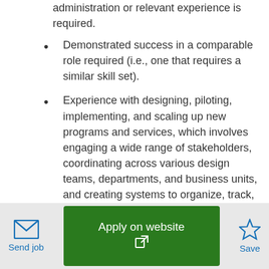administration or relevant experience is required.
Demonstrated success in a comparable role required (i.e., one that requires a similar skill set).
Experience with designing, piloting, implementing, and scaling up new programs and services, which involves engaging a wide range of stakeholders, coordinating across various design teams, departments, and business units, and creating systems to organize, track, and ensure successful results.
Experience at a similar institution or with faculty
[Figure (other): Footer action bar with Send job (email icon), Apply on website (green button with external link icon), and Save (star icon) buttons]